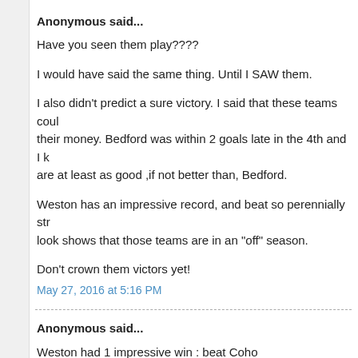Anonymous said...
Have you seen them play????
I would have said the same thing. Until I SAW them.
I also didn't predict a sure victory. I said that these teams could give them a run for their money. Bedford was within 2 goals late in the 4th and I know that these teams are at least as good ,if not better than, Bedford.
Weston has an impressive record, and beat so perennially strong teams. But a closer look shows that those teams are in an "off" season.
Don't crown them victors yet!
May 27, 2016 at 5:16 PM
Anonymous said...
Weston had 1 impressive win : beat Coho
Other wins
A-B (barely above 500)
Westford ( 500)
Wayland (barely above 500)